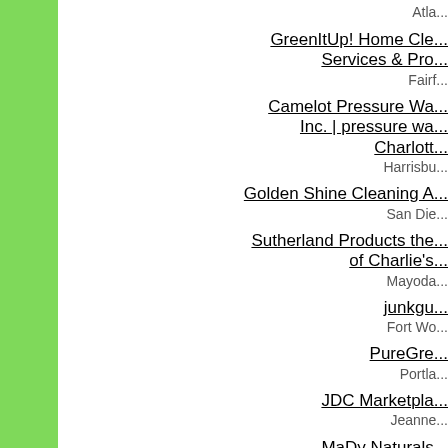Atla...
GreenItUp! Home Cleaning Services & Pro...
Fairf...
Camelot Pressure Wa... Inc. | pressure wa... Charlotte...
Harrisbu...
Golden Shine Cleaning A...
San Die...
Sutherland Products the... of Charlie's...
Mayoda...
junkgu...
Fort Wo...
PureGre...
Portla...
JDC Marketpla...
Jeanne...
MaDy Naturals...
Alb...
Green Homes Carpet Cle... & Resto...
Los Angel...